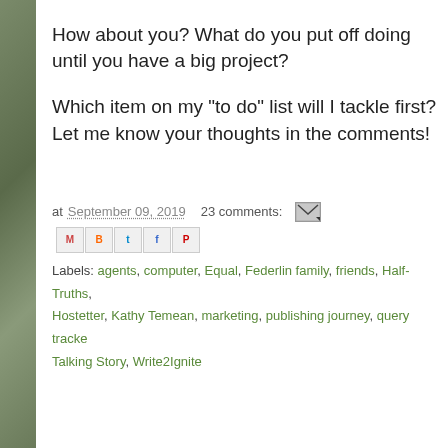How about you? What do you put off doing until you have a big project?
Which item on my "to do" list will I tackle first? Let me know your thoughts in the comments!
at September 09, 2019   23 comments:
Labels: agents, computer, Equal, Federlin family, friends, Half-Truths, Hostetter, Kathy Temean, marketing, publishing journey, query tracker, Talking Story, Write2Ignite
TUESDAY, SEPTEMBER 3, 2019
Author Interview with Anna Jean Mayhew- Part II
As promised on last week's blog, A.J.Mayhew, author of Tomor more questions on the art of writing fiction, being a White auth